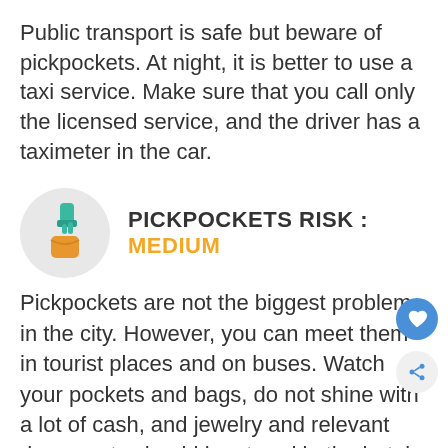Public transport is safe but beware of pickpockets. At night, it is better to use a taxi service. Make sure that you call only the licensed service, and the driver has a taximeter in the car.
PICKPOCKETS RISK : MEDIUM
[Figure (illustration): Circular grey icon showing a hand picking from an orange wallet/pocket]
Pickpockets are not the biggest problem in the city. However, you can meet them in tourist places and on buses. Watch your pockets and bags, do not shine with a lot of cash, and jewelry and relevant documents should be stored in the hotel safe.